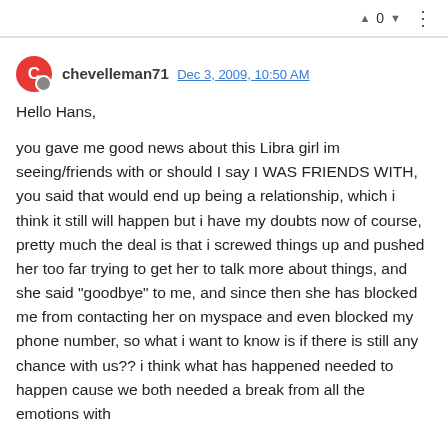▲ 0 ▼ ⋮
chevelleman71 Dec 3, 2009, 10:50 AM
Hello Hans,
you gave me good news about this Libra girl im seeing/friends with or should I say I WAS FRIENDS WITH, you said that would end up being a relationship, which i think it still will happen but i have my doubts now of course, pretty much the deal is that i screwed things up and pushed her too far trying to get her to talk more about things, and she said "goodbye" to me, and since then she has blocked me from contacting her on myspace and even blocked my phone number, so what i want to know is if there is still any chance with us?? i think what has happened needed to happen cause we both needed a break from all the emotions with